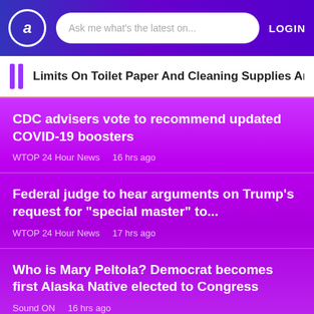a — Ask me what's the latest on... LOGIN
Limits On Toilet Paper And Cleaning Supplies Are Bac
CDC advisers vote to recommend updated COVID-19 boosters
WTOP 24 Hour News   16 hrs ago
Federal judge to hear arguments on Trump's request for "special master" to...
WTOP 24 Hour News   17 hrs ago
Who is Mary Peltola? Democrat becomes first Alaska Native elected to Congress
Sound ON   16 hrs ago